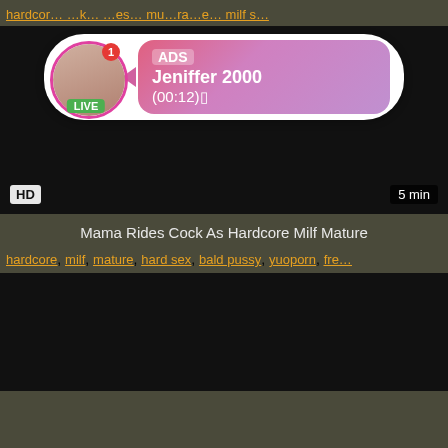hardcore … milf s…
[Figure (screenshot): Dark video thumbnail with HD badge bottom-left and '5 min' badge bottom-right, overlaid with an ad popup showing a woman's profile photo with LIVE badge, notification dot, and pink gradient box labeled ADS with name 'Jeniffer 2000' and time '(00:12)⬛']
Mama Rides Cock As Hardcore Milf Mature
hardcore, milf, mature, hard sex, bald pussy, yuoporn, fre…
[Figure (screenshot): Dark video thumbnail (second video, partially visible)]